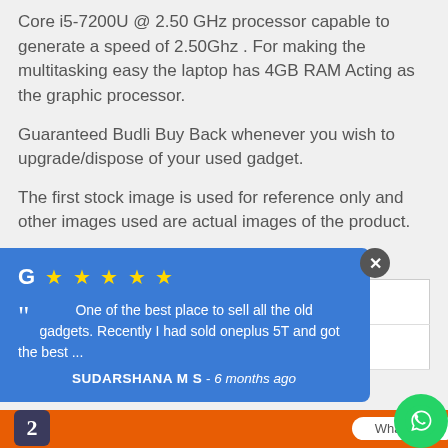Core i5-7200U @ 2.50 GHz processor capable to generate a speed of 2.50Ghz . For making the multitasking easy the laptop has 4GB RAM Acting as the graphic processor.
Guaranteed Budli Buy Back whenever you wish to upgrade/dispose of your used gadget.
The first stock image is used for reference only and other images used are actual images of the product.
Detailed Specifications:
| Brand | Dell |
| --- | --- |
|  | iron 15 3567 |
Google Review popup: One of the best place to sell all the old gadgets. Recently I had sold oneplus 5T and got the best ... - SUDARSHANA M S - 6 months ago